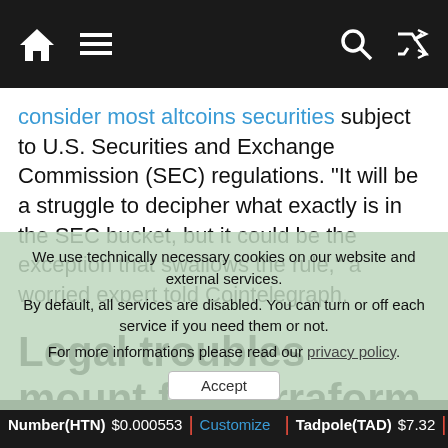Navigation bar with home, menu, search, and shuffle icons
consider most altcoins securities subject to U.S. Securities and Exchange Commission (SEC) regulations. “It will be a struggle to decipher what exactly is in the SEC bucket, but it could be the exception that swallows the rule,” a worried expert told Cointelegraph.
Legal troubles mount for Terraform Labs
Terraform Labs, the parent company behind the collapsed Terra ecosystem, continues its struggle with enforcement agencies and courts in both hemisphores. The Seoul Metropolitan Police
We use technically necessary cookies on our website and external services.
By default, all services are disabled. You can turn or off each service if you need them or not.
For more informations please read our privacy policy.
Accept
Number(HTN) $0.000553 | Customize | Tadpole(TAD) $7.32 |